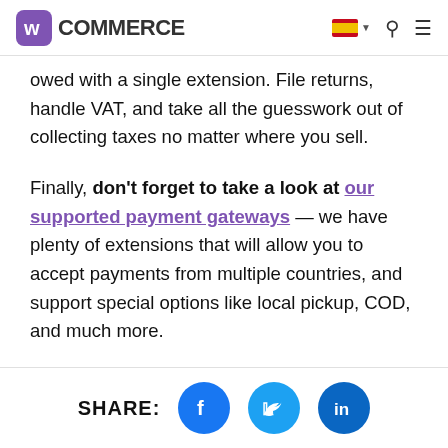WooCommerce
owed with a single extension. File returns, handle VAT, and take all the guesswork out of collecting taxes no matter where you sell.
Finally, don't forget to take a look at our supported payment gateways — we have plenty of extensions that will allow you to accept payments from multiple countries, and support special options like local pickup, COD, and much more.
By following these tips, your
SHARE: